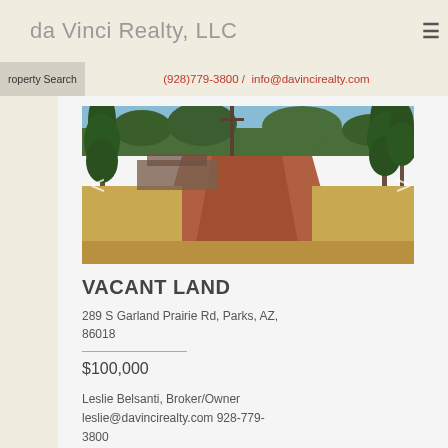da Vinci Realty, LLC
(928)779-3800 / info@davincirealty.com
roperty Search
[Figure (photo): Vacant land property photo showing pine trees, a red dirt road, and open land in Parks, AZ]
VACANT LAND
289 S Garland Prairie Rd, Parks, AZ, 86018
$100,000
Leslie Belsanti, Broker/Owner leslie@davincirealty.com 928-779-3800